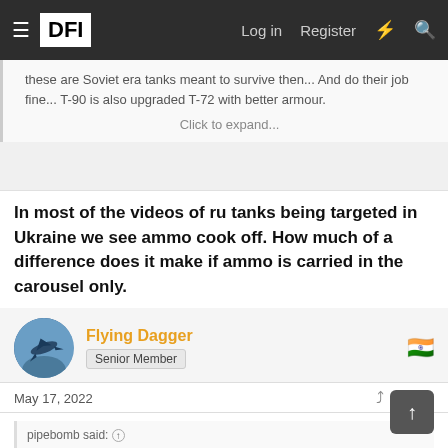≡ DFI  Log in  Register  ⚡  🔍
these are Soviet era tanks meant to survive then... And do their job fine... T-90 is also upgraded T-72 with better armour.
Click to expand...
In most of the videos of ru tanks being targeted in Ukraine we see ammo cook off. How much of a difference does it make if ammo is carried in the carousel only.
Flying Dagger
Senior Member
May 17, 2022
#8,867
pipebomb said: ↑
In most of the videos of ru tanks being targeted in Ukraine we see ammo cook off. How much of a difference does it make if ammo is carried in the carousel only.